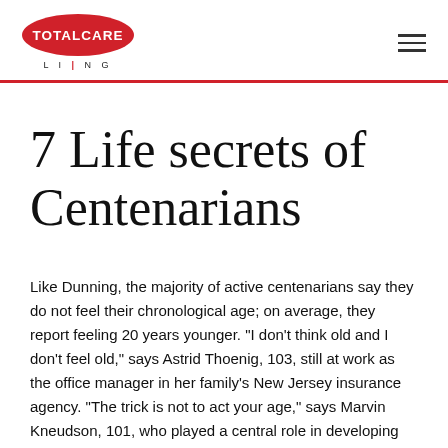TOTALCARE LIVING
7 Life secrets of Centenarians
Like Dunning, the majority of active centenarians say they do not feel their chronological age; on average, they report feeling 20 years younger. "I don't think old and I don't feel old," says Astrid Thoenig, 103, still at work as the office manager in her family's New Jersey insurance agency. "The trick is not to act your age," says Marvin Kneudson, 101, who played a central role in developing the community